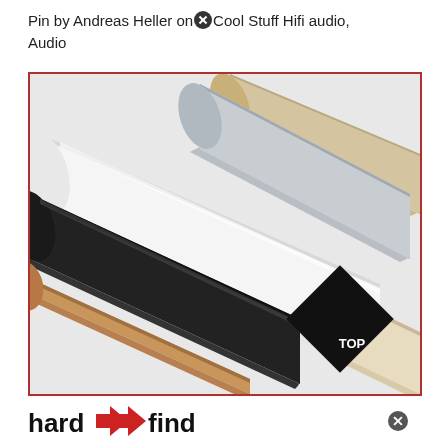Pin by Andreas Heller on Cool Stuff Hifi audio, Audio
[Figure (photo): Five cable management raceways/conduits in different colors (tan/wood, black, white, silver/grey, and cream/beige), shown diagonally arranged with a TOP badge and hard2find logo at the bottom.]
hard2find [logo]